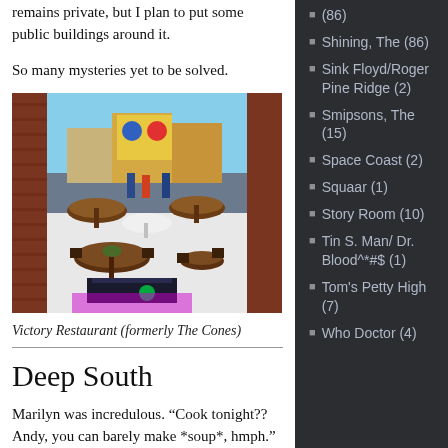remains private, but I plan to put some public buildings around it.
So many mysteries yet to be solved.
[Figure (photo): Screenshot of a virtual world scene showing Victory Restaurant, formerly The Cones, with thatched-roof tables, chairs, and a colorful mural in the background]
Victory Restaurant (formerly The Cones)
Deep South
Marilyn was incredulous. “Cook tonight?? Andy, you can barely make *soup*, hmph.”
(86)
Shining, The (86)
Sink Floyd/Roger Pine Ridge (2)
Smipsons, The (15)
Space Coast (2)
Squaar (1)
Story Room (10)
Tin S. Man/ Dr. Blood^*#$ (1)
Tom's Petty High (7)
Who Doctor (4)